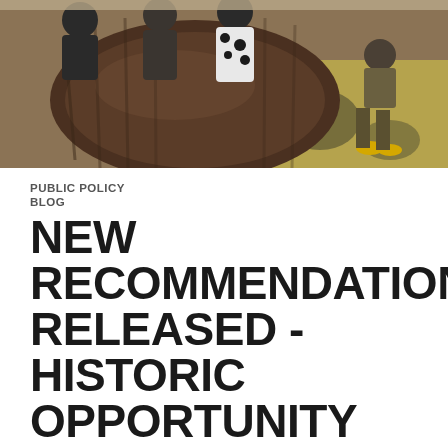[Figure (photo): Photo of people gathered around a large oval wooden table in a conference or meeting room setting, with a decorative patterned carpet visible. One person wearing yellow shoes is visible.]
PUBLIC POLICY
BLOG
NEW RECOMMENDATIONS RELEASED - HISTORIC OPPORTUNITY FOR REFORM IN CHILD WELFARE: QUALITY RESIDENTIAL SERVICES